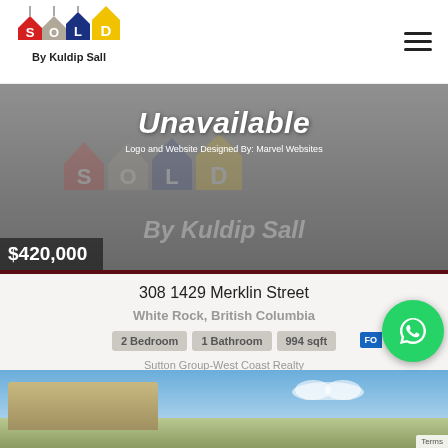[Figure (logo): SOLD By Kuldip Sall colorful logo with house-shaped letters]
[Figure (photo): Property listing image marked Unavailable with SOLD watermark, price $420,000]
$420,000
308 1429 Merklin Street
White Rock, British Columbia
2 Bedroom
1 Bathroom
994 sqft
Sutton Group-West Coast Realty
[Figure (photo): Bottom strip showing exterior of a property with blue sky]